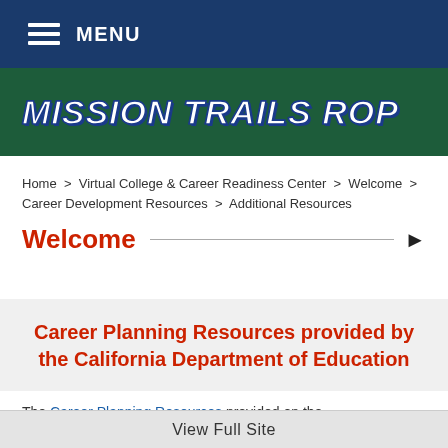MENU
MISSION TRAILS ROP
Home > Virtual College & Career Readiness Center > Welcome > Career Development Resources > Additional Resources
Welcome
Career Planning Resources provided by the California Department of Education
The Career Planning Resources provided on the
View Full Site